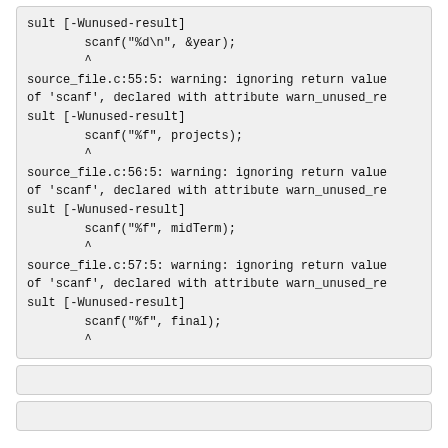sult [-Wunused-result]
        scanf("%d\n", &year);
        ^
source_file.c:55:5: warning: ignoring return value of 'scanf', declared with attribute warn_unused_result [-Wunused-result]
        scanf("%f", projects);
        ^
source_file.c:56:5: warning: ignoring return value of 'scanf', declared with attribute warn_unused_result [-Wunused-result]
        scanf("%f", midTerm);
        ^
source_file.c:57:5: warning: ignoring return value of 'scanf', declared with attribute warn_unused_result [-Wunused-result]
        scanf("%f", final);
        ^